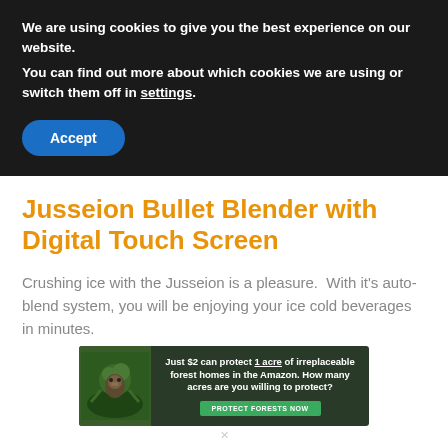We are using cookies to give you the best experience on our website.
You can find out more about which cookies we are using or switch them off in settings.
Accept
Jusseion Bullet Blender with Digital Touch Screen
Crushing ice with the Jusseion is a pleasure.  With it’s auto-blend system, you will be enjoying your ice cold beverages in minutes.
[Figure (infographic): Advertisement banner: dark green background with jungle/amazon imagery and a sloth. Text reads: Just $2 can protect 1 acre of irreplaceable forest homes in the Amazon. How many acres are you willing to protect? With a green button: PROTECT FORESTS NOW]